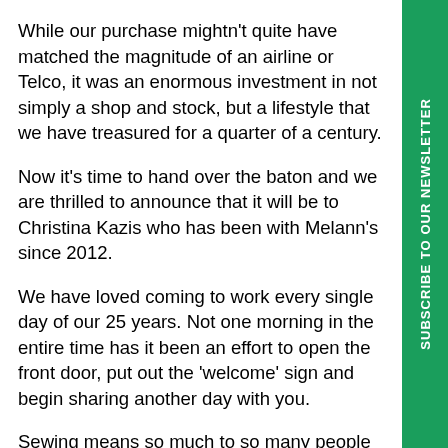While our purchase mightn't quite have matched the magnitude of an airline or Telco, it was an enormous investment in not simply a shop and stock, but a lifestyle that we have treasured for a quarter of a century.
Now it's time to hand over the baton and we are thrilled to announce that it will be to Christina Kazis who has been with Melann's since 2012.
We have loved coming to work every single day of our 25 years. Not one morning in the entire time has it been an effort to open the front door, put out the 'welcome' sign and begin sharing another day with you.
Sewing means so much to so many people and we've been blessed to share so many wonderful experiences with you… the purchase of a new machine, the 'resurrection' of an old favourite, the